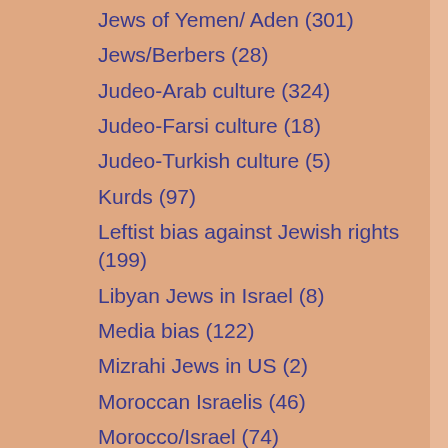Jews of Yemen/ Aden (301)
Jews/Berbers (28)
Judeo-Arab culture (324)
Judeo-Farsi culture (18)
Judeo-Turkish culture (5)
Kurds (97)
Leftist bias against Jewish rights (199)
Libyan Jews in Israel (8)
Media bias (122)
Mizrahi Jews in US (2)
Moroccan Israelis (46)
Morocco/Israel (74)
Non-Arab/non-Muslim minorities (292)
Obituaries (21)
Persian Israelis (12)
Sephardi Voices (25)
Sephardim/ Mizrahim (420)